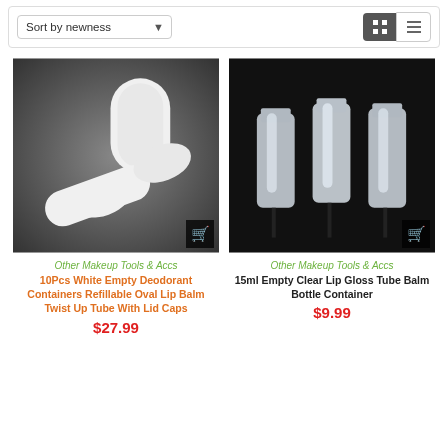[Figure (screenshot): Toolbar with sort by newness dropdown and grid/list view toggle buttons]
[Figure (photo): White empty deodorant containers - two oval twist-up tubes on dark background]
Other Makeup Tools & Accs
10Pcs White Empty Deodorant Containers Refillable Oval Lip Balm Twist Up Tube With Lid Caps
$27.99
[Figure (photo): Clear empty lip gloss tubes - three transparent squeeze tubes on black background]
Other Makeup Tools & Accs
15ml Empty Clear Lip Gloss Tube Balm Bottle Container
$9.99